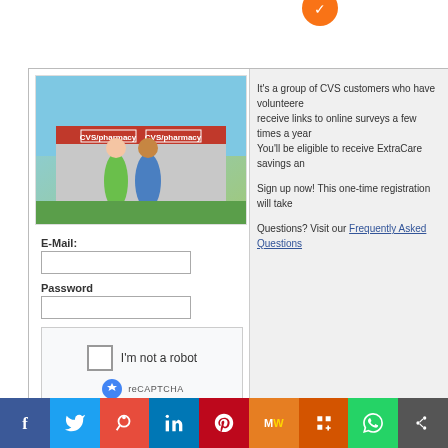[Figure (screenshot): Orange circle/notification icon at top center]
[Figure (screenshot): CVS Advisory Panel login page screenshot showing CVS storefront image, email and password fields, reCAPTCHA widget, and Login button alongside text about CVS Advisory Panel]
It's a group of CVS customers who have volunteered to receive links to online surveys a few times a year. You'll be eligible to receive ExtraCare savings and...
Sign up now! This one-time registration will take...
Questions? Visit our Frequently Asked Questions
E-Mail:
Password
I'm not a robot
reCAPTCHA
Privacy · Terms
Login
CVS Advisory Panel Review. Is this worthwhile?
[Figure (infographic): Social media sharing bar with icons for Facebook, Twitter, Reddit, LinkedIn, Pinterest, MeWe, Mix, WhatsApp, and share button]